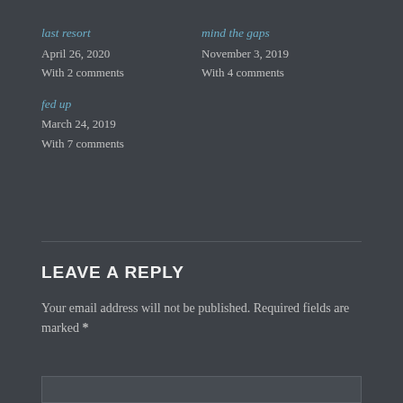last resort
April 26, 2020
With 2 comments
mind the gaps
November 3, 2019
With 4 comments
fed up
March 24, 2019
With 7 comments
LEAVE A REPLY
Your email address will not be published. Required fields are marked *